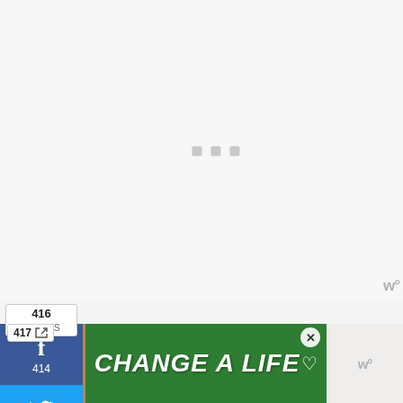[Figure (other): Large light gray loading/placeholder area with three gray square dots centered]
416
SHARES
[Figure (infographic): Social share sidebar with Facebook (414), Twitter, and Pinterest buttons, plus a teal heart/save button with count 2]
417
The Mama has a memory like a leaky bucket – Seriously? What am I going to do
[Figure (infographic): Advertisement banner with dog image and text CHANGE A LIFE with close button X, heart icon, and watermark logo on right side]
w°